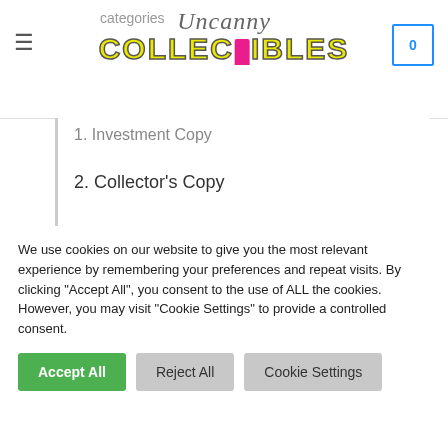Uncanny Collectibles — categories — cart 0
1. Investment Copy
2. Collector's Copy
3. Reading Copy
4. Acceptable Copy
All of our comics come bagged & boarded. Unless otherwise stated all of our comics are
We use cookies on our website to give you the most relevant experience by remembering your preferences and repeat visits. By clicking "Accept All", you consent to the use of ALL the cookies. However, you may visit "Cookie Settings" to provide a controlled consent.